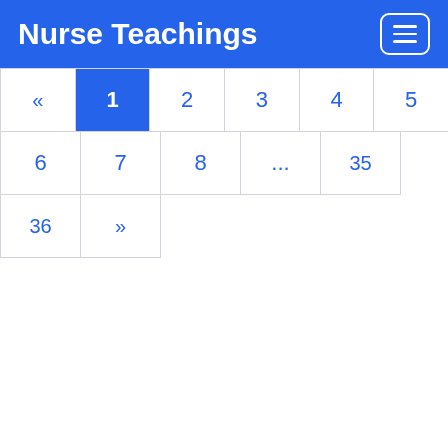Nurse Teachings
[Figure (screenshot): Pagination control showing page navigation with pages «, 1 (active), 2, 3, 4, 5, 6, 7, 8, ..., 35, 36, »]